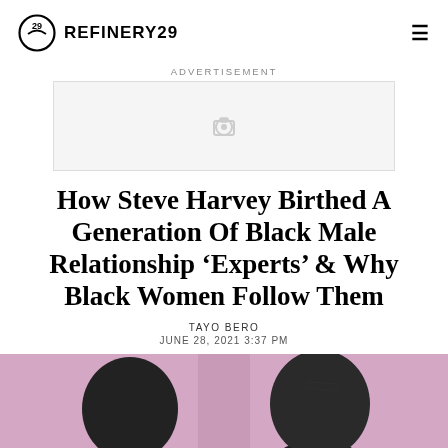REFINERY29
ADVERTISEMENT
[Figure (other): Advertisement placeholder box with camera icon]
How Steve Harvey Birthed A Generation Of Black Male Relationship ‘Experts’ & Why Black Women Follow Them
TAYO BERO
JUNE 28, 2021 3:37 PM
[Figure (photo): Two Black men facing each other, photographed from shoulders up against a pink/lavender background, partially cropped at bottom of page]